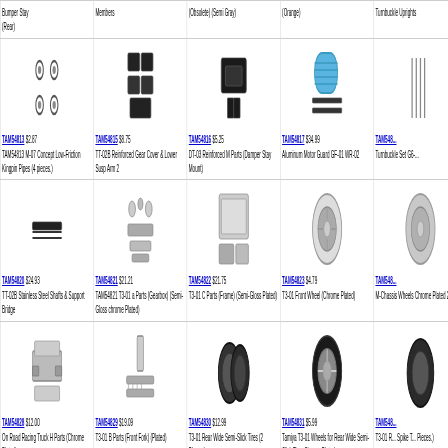| Bumper Stay (Rear) | Members | (Obsolete) (Semi Gray) | (Orange) | Turnbuckle Uprights |
| TAM54813 $2.87 TAM54813 M-07 Concept Low-Friction Kingpin Pipes (4 pieces.) | TAM54815 $8.75 TT-02B Reinforced Gear Cover & Lower Susp Arm 2 | TAM54816 $5.25 DT-03 Reinforced M Parts (Damper Stay Mount) | TAM54817 $34.99 Aluminum Motor Guard GF-01 WR-02 | TAM54... Turnbuckle Set G6-... |
| TAM54820 $24.93 TT-02B Stainless Steel Shafts & Support Bridge | TAM54821 $21.21 TAM54821 T3-01 a Parts (Gearbox) (Semi-Gloss chrome Plated) | TAM54822 $21.75 T3-01 C Parts (Frame) (Semi-Gloss Plated) | TAM54823 $4.79 T3-01 Front Wheel (Chrome Plated) | TAM54... M-Chassis Wheels Chrome Plated 2... |
| TAM54828 $12.00 On Road Racing Truck H Parts (Chrome Plated) | TAM54829 $19.09 T3-01 B Parts (Front Fork) (Plated) | TAM54830 $12.99 T3-01 Rear Wide Semi-Slick Tires (2 Pieces.) | TAM54831 $5.99 Tamiya T3-01 Wheels for Rear Wide Semi-Slick Tires Chrome Plated | TAM54... T3-01 R... Spike T... Pieces.) |
| TAM54834 $20.99 TAM54834 T3-01 Full Ball Bearing Set | TAM54835 $9.55 Tam54835 T3-01 Aluminum Adjustable Link Arm Set | TAM54836 $3.61 T3-01 Front Caramel Block Tire | TAM54837 $17.51 1/8 Scale R/C Dancing Rider Light Weight Body Parts Set | TAM54... T3-01 F... Set Soft... |